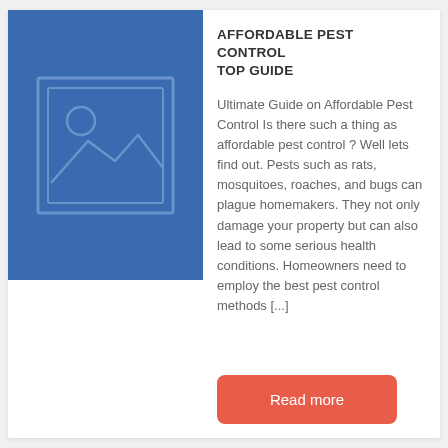[Figure (illustration): Blue placeholder image box with a mountain/landscape icon and sun circle in lighter blue outline style]
AFFORDABLE PEST CONTROL TOP GUIDE
Ultimate Guide on Affordable Pest Control Is there such a thing as affordable pest control ? Well lets find out. Pests such as rats, mosquitoes, roaches, and bugs can plague homemakers. They not only damage your property but can also lead to some serious health conditions. Homeowners need to employ the best pest control methods [...]
Read more